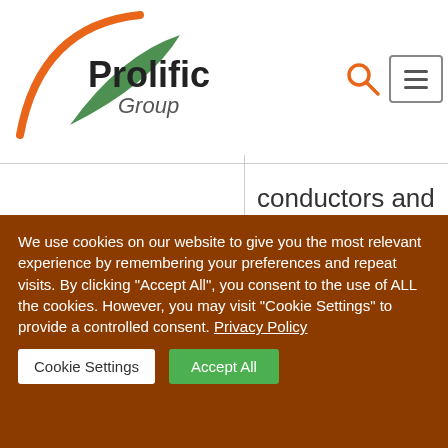[Figure (logo): Prolific Group logo with orange arc and green leaf swoosh]
| [temperature of surrounding/cooling medium text - cropped] | conductors, differential thermal expansion between conductors and sheath: defective initial wires |
|  | Loose insulation, voids, insulation contamination, |
We use cookies on our website to give you the most relevant experience by remembering your preferences and repeat visits. By clicking "Accept All", you consent to the use of ALL the cookies. However, you may visit "Cookie Settings" to provide a controlled consent. Privacy Policy
Cookie Settings   Accept All